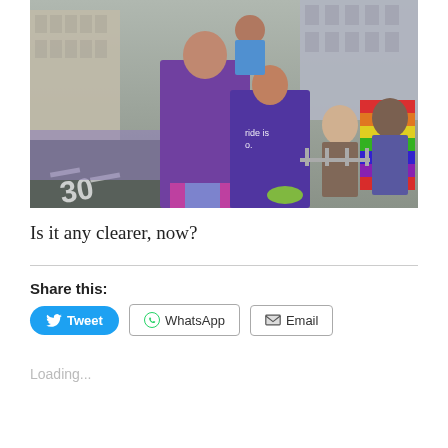[Figure (photo): A pride parade scene on a city street. Two men, one in a purple sleeveless shirt and one in a purple t-shirt with text 'Pride is...', lift a child up to kiss one of them. Spectators line the street holding rainbow flags. Tall buildings visible in the background.]
Is it any clearer, now?
Share this:
Tweet
WhatsApp
Email
Loading...